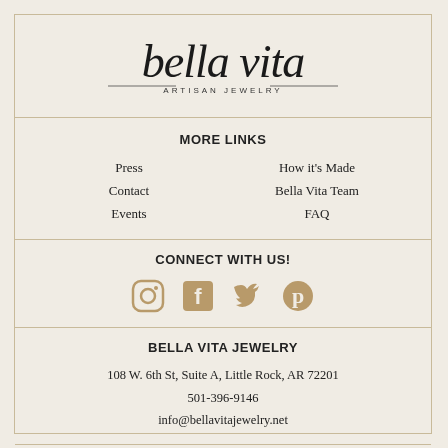[Figure (logo): Bella Vita Artisan Jewelry logo in cursive script]
MORE LINKS
Press
Contact
Events
How it's Made
Bella Vita Team
FAQ
CONNECT WITH US!
[Figure (infographic): Social media icons: Instagram, Facebook, Twitter, Pinterest in tan/gold color]
BELLA VITA JEWELRY
108 W. 6th St, Suite A, Little Rock, AR 72201
501-396-9146
info@bellavitajewelry.net
NEWSLETTER